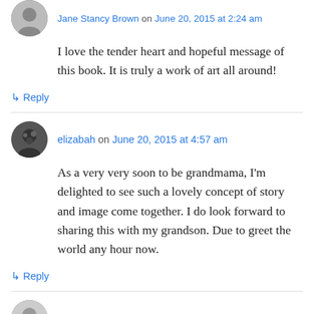I love the tender heart and hopeful message of this book. It is truly a work of art all around!
↳ Reply
elizabah on June 20, 2015 at 4:57 am
As a very very soon to be grandmama, I'm delighted to see such a lovely concept of story and image come together. I do look forward to sharing this with my grandson. Due to greet the world any hour now.
↳ Reply
Joanne Roberts on June 20, 2015 at 7:02 am